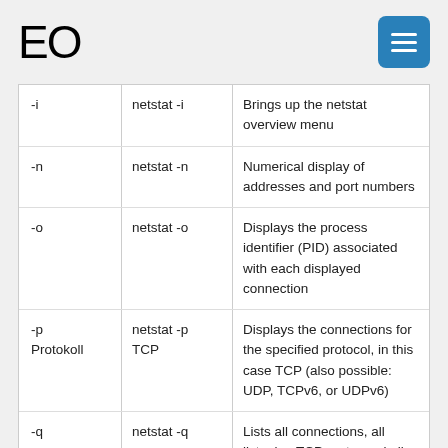EO
| -i | netstat -i | Brings up the netstat overview menu |
| -n | netstat -n | Numerical display of addresses and port numbers |
| -o | netstat -o | Displays the process identifier (PID) associated with each displayed connection |
| -p Protokoll | netstat -p TCP | Displays the connections for the specified protocol, in this case TCP (also possible: UDP, TCPv6, or UDPv6) |
| -q | netstat -q | Lists all connections, all listening TCP ports, and all open TCP ports that are not listening |